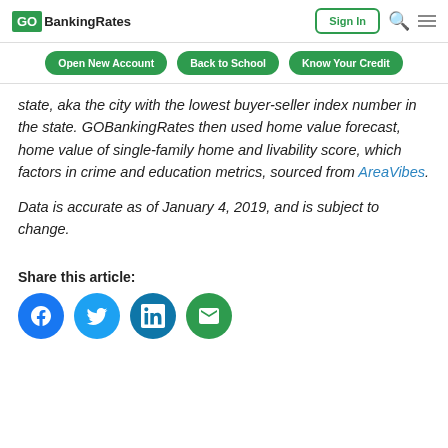GOBankingRates | Sign In
state, aka the city with the lowest buyer-seller index number in the state. GOBankingRates then used home value forecast, home value of single-family home and livability score, which factors in crime and education metrics, sourced from AreaVibes.
Data is accurate as of January 4, 2019, and is subject to change.
Share this article: